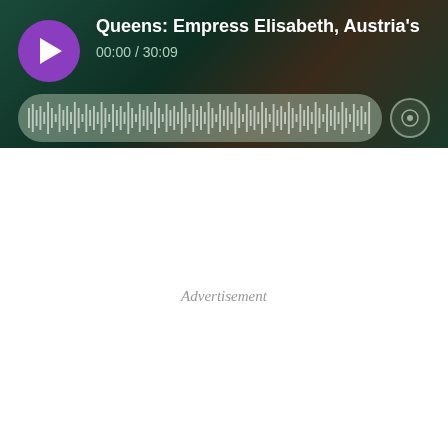[Figure (screenshot): Audio podcast player widget with dark green/brown gradient background. Shows a purple circular play button on the left, episode title 'Queens: Empress Elisabeth, Austria's' in white bold text, time display '00:00 / 30:09' below the title, a waveform/progress bar in grey-green across the bottom, and a speed control button on the right.]
Advertisement